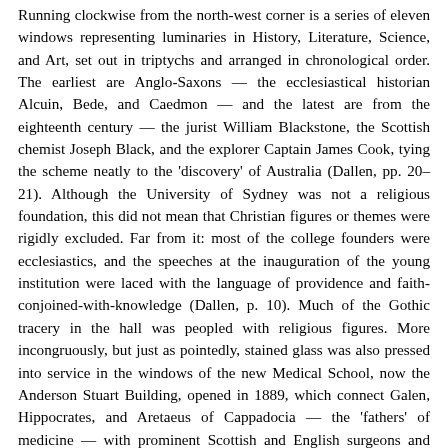Running clockwise from the north-west corner is a series of eleven windows representing luminaries in History, Literature, Science, and Art, set out in triptychs and arranged in chronological order. The earliest are Anglo-Saxons — the ecclesiastical historian Alcuin, Bede, and Caedmon — and the latest are from the eighteenth century — the jurist William Blackstone, the Scottish chemist Joseph Black, and the explorer Captain James Cook, tying the scheme neatly to the 'discovery' of Australia (Dallen, pp. 20–21). Although the University of Sydney was not a religious foundation, this did not mean that Christian figures or themes were rigidly excluded. Far from it: most of the college founders were ecclesiastics, and the speeches at the inauguration of the young institution were laced with the language of providence and faith-conjoined-with-knowledge (Dallen, p. 10). Much of the Gothic tracery in the hall was peopled with religious figures. More incongruously, but just as pointedly, stained glass was also pressed into service in the windows of the new Medical School, now the Anderson Stuart Building, opened in 1889, which connect Galen, Hippocrates, and Aretaeus of Cappadocia — the 'fathers' of medicine — with prominent Scottish and English surgeons and physicians of the more recent past (Dallen, pp. 34–35). The Gothic framing and details jar wildly with the Hanoverian and Victorian dress of the most recent of those figures, but show how embedded this style was in such contexts (Fig. 7). Similar points could be made about any number of new universities in New Zealand, Canada, and South Africa, where (adapting from Alan Rogers,